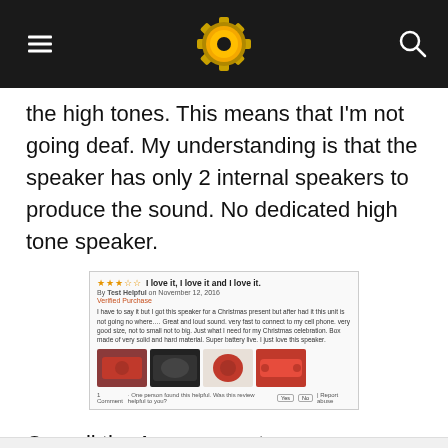[Navigation bar with hamburger menu, gear/sun logo, and search icon]
the high tones. This means that I'm not going deaf. My understanding is that the speaker has only 2 internal speakers to produce the sound. No dedicated high tone speaker.
[Figure (screenshot): Screenshot of an Amazon customer review with star rating, reviewer name, Vine review badge, review text about a Christmas gift speaker, four product photos showing a red/orange speaker, and a helpful voting section at the bottom.]
Overall the Amazon customers are happy with their choice. I'm not surprised as so far each iClever device I had the pleasure to test had good value and quality to it.
While few things could be improved, the speaker's nice design and long battery life will appeal to a lot of people.